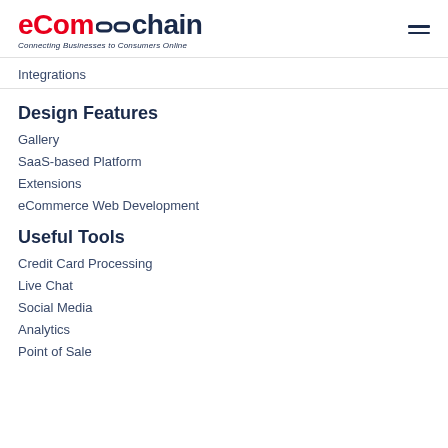eCom chain — Connecting Businesses to Consumers Online
Integrations
Design Features
Gallery
SaaS-based Platform
Extensions
eCommerce Web Development
Useful Tools
Credit Card Processing
Live Chat
Social Media
Analytics
Point of Sale